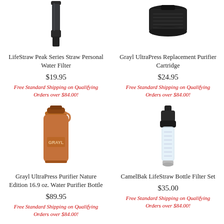[Figure (photo): LifeStraw Peak Series Straw Personal Water Filter product image - dark colored straw filter]
LifeStraw Peak Series Straw Personal Water Filter
$19.95
Free Standard Shipping on Qualifying Orders over $84.00!
[Figure (photo): Grayl UltraPress Replacement Purifier Cartridge product image - black round cartridge]
Grayl UltraPress Replacement Purifier Cartridge
$24.95
Free Standard Shipping on Qualifying Orders over $84.00!
[Figure (photo): Grayl UltraPress Purifier Nature Edition 16.9 oz. Water Purifier Bottle - orange/terracotta colored bottle]
Grayl UltraPress Purifier Nature Edition 16.9 oz. Water Purifier Bottle
$89.95
Free Standard Shipping on Qualifying Orders over $84.00!
[Figure (photo): CamelBak LifeStraw Bottle Filter Set - black and clear filter set]
CamelBak LifeStraw Bottle Filter Set
$35.00
Free Standard Shipping on Qualifying Orders over $84.00!